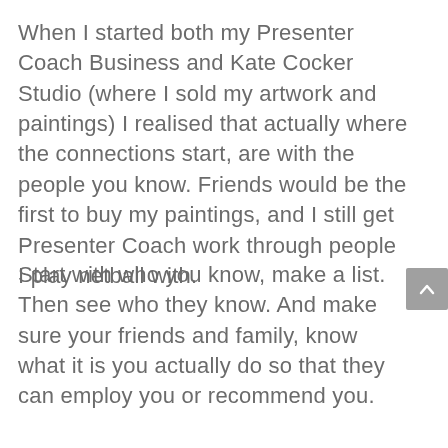When I started both my Presenter Coach Business and Kate Cocker Studio (where I sold my artwork and paintings) I realised that actually where the connections start, are with the people you know. Friends would be the first to buy my paintings, and I still get Presenter Coach work through people I play netball with.
Start with who you know, make a list. Then see who they know. And make sure your friends and family, know what it is you actually do so that they can employ you or recommend you.